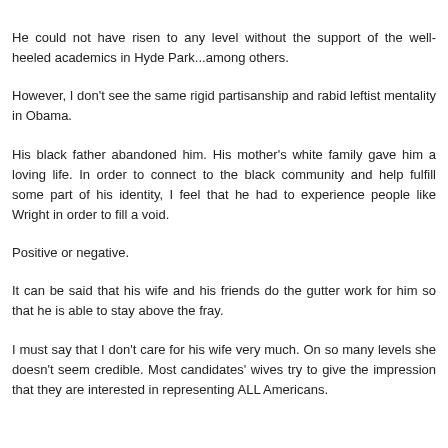He could not have risen to any level without the support of the well-heeled academics in Hyde Park...among others.
However, I don't see the same rigid partisanship and rabid leftist mentality in Obama.
His black father abandoned him. His mother's white family gave him a loving life. In order to connect to the black community and help fulfill some part of his identity, I feel that he had to experience people like Wright in order to fill a void.
Positive or negative.
It can be said that his wife and his friends do the gutter work for him so that he is able to stay above the fray.
I must say that I don't care for his wife very much. On so many levels she doesn't seem credible. Most candidates' wives try to give the impression that they are interested in representing ALL Americans.